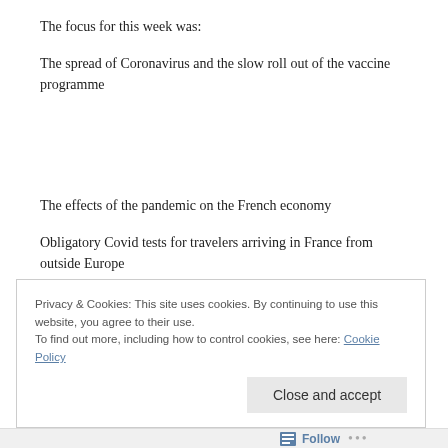The focus for this week was:
The spread of Coronavirus and the slow roll out of the vaccine programme
The effects of the pandemic on the French economy
Obligatory Covid tests for travelers arriving in France from outside Europe
Privacy & Cookies: This site uses cookies. By continuing to use this website, you agree to their use.
To find out more, including how to control cookies, see here: Cookie Policy
Close and accept
Follow